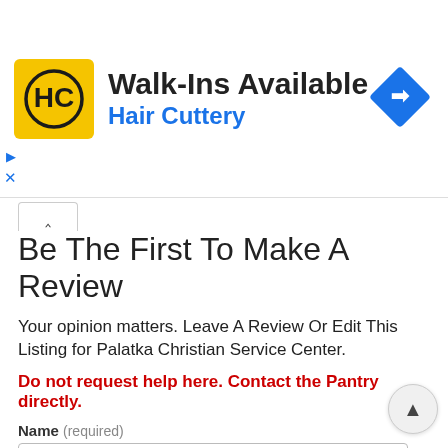[Figure (infographic): Hair Cuttery advertisement banner with yellow HC logo, Walk-Ins Available text, and a blue diamond direction arrow icon]
Be The First To Make A Review
Your opinion matters. Leave A Review Or Edit This Listing for Palatka Christian Service Center.
Do not request help here. Contact the Pantry directly.
Name (required)
eMail (will not be published) (required)
Comment (required)